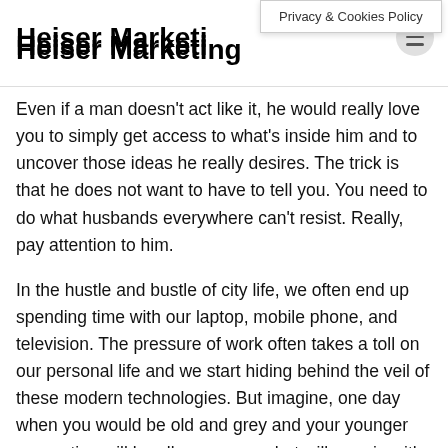Heiser Marketing
Privacy & Cookies Policy
Even if a man doesn't act like it, he would really love you to simply get access to what's inside him and to uncover those ideas he really desires. The trick is that he does not want to have to tell you. You need to do what husbands everywhere can't resist. Really, pay attention to him.
In the hustle and bustle of city life, we often end up spending time with our laptop, mobile phone, and television. The pressure of work often takes a toll on our personal life and we start hiding behind the veil of these modern technologies. But imagine, one day when you would be old and grey and your younger generation will be all grown-up, what will remain with you? Memories. Memories will remain with you that's what you will have together. Till then and if